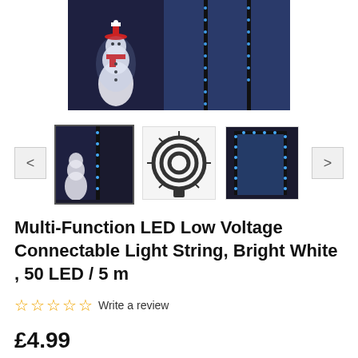[Figure (photo): Main product image showing blue LED light string installed around a dark doorway/wall with a glowing snowman figure. Blue lights illuminate the door frame area.]
[Figure (photo): Thumbnail 1 (selected): Close-up of blue LED lights around a dark door frame.]
[Figure (photo): Thumbnail 2: Coiled black wire LED light string on a white background.]
[Figure (photo): Thumbnail 3: Blue LED lights outlining a window/wall at night.]
Multi-Function LED Low Voltage Connectable Light String, Bright White , 50 LED / 5 m
Write a review
£4.99